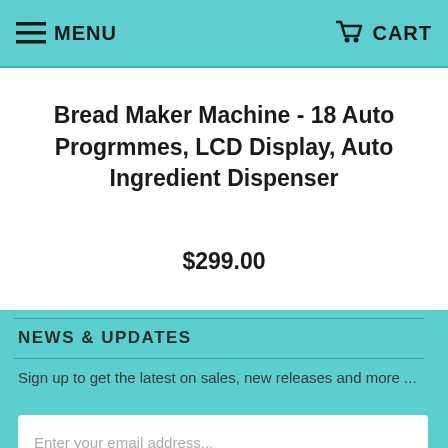MENU   CART
Bread Maker Machine - 18 Auto Progrmmes, LCD Display, Auto Ingredient Dispenser
$299.00
NEWS & UPDATES
Sign up to get the latest on sales, new releases and more ...
Enter your email address...
SIGN UP